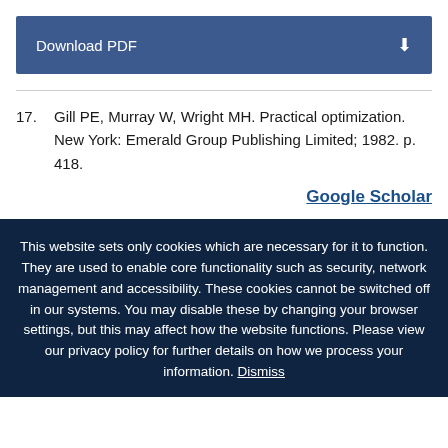Download PDF
17. Gill PE, Murray W, Wright MH. Practical optimization. New York: Emerald Group Publishing Limited; 1982. p. 418.
Google Scholar
This website sets only cookies which are necessary for it to function. They are used to enable core functionality such as security, network management and accessibility. These cookies cannot be switched off in our systems. You may disable these by changing your browser settings, but this may affect how the website functions. Please view our privacy policy for further details on how we process your information. Dismiss